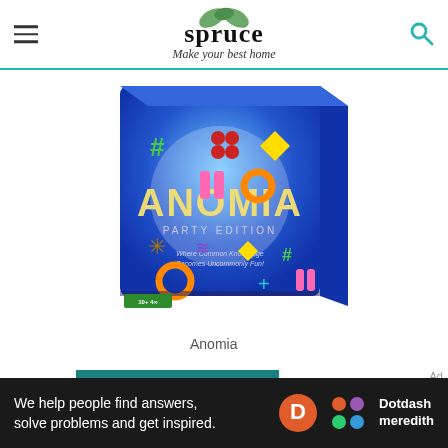the spruce Make your best home
[Figure (photo): Anomia Party Edition board game box with blue background and colorful symbols]
Anomia
VIEW ON AMAZON $38
We help people find answers, solve problems and get inspired. Dotdash meredith